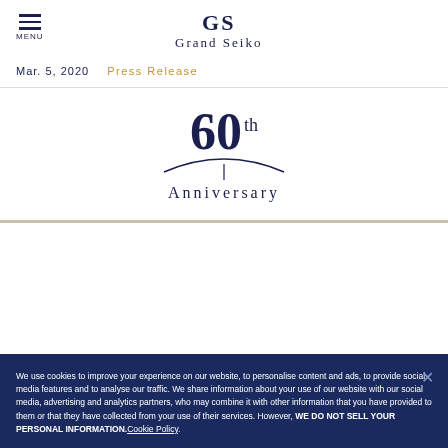MENU | Grand Seiko
Mar. 5, 2020   Press Release
[Figure (logo): Grand Seiko 60th Anniversary logo with large '60th' text, decorative arc line beneath, and 'Anniversary' text below]
We use cookies to improve your experience on our website, to personalise content and ads, to provide social media features and to analyse our traffic. We share information about your use of our website with our social media, advertising and analytics partners, who may combine it with other information that you have provided to them or that they have collected from your use of their services. However, WE DO NOT SELL YOUR PERSONAL INFORMATION. Cookie Policy.